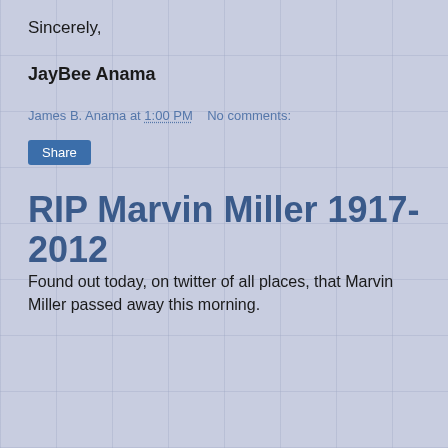Sincerely,
JayBee Anama
James B. Anama at 1:00 PM   No comments:
Share
RIP Marvin Miller 1917-2012
Found out today, on twitter of all places, that Marvin Miller passed away this morning.
[Figure (photo): Baseball card featuring Marvin Miller with MLBPA logo in yellow text]